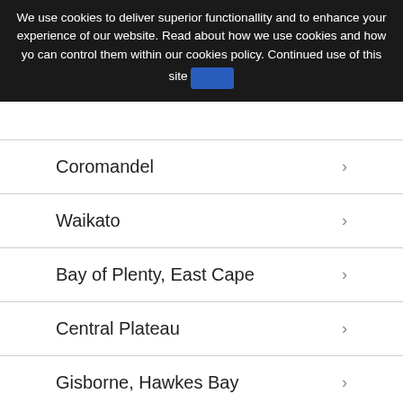We use cookies to deliver superior functionallity and to enhance your experience of our website. Read about how we use cookies and how you can control them within our cookies policy. Continued use of this site
Coromandel
Waikato
Bay of Plenty, East Cape
Central Plateau
Gisborne, Hawkes Bay
Taranaki
Manawatu, Whanganui